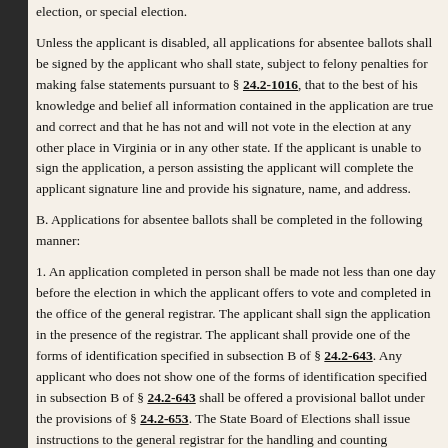election, or special election.
Unless the applicant is disabled, all applications for absentee ballots shall be signed by the applicant who shall state, subject to felony penalties for making false statements pursuant to § 24.2-1016, that to the best of his knowledge and belief all information contained in the application are true and correct and that he has not and will not vote in the election at any other place in Virginia or in any other state. If the applicant is unable to sign the application, a person assisting the applicant will complete the applicant signature line and provide his signature, name, and address.
B. Applications for absentee ballots shall be completed in the following manner:
1. An application completed in person shall be made not less than one day before the election in which the applicant offers to vote and completed in the office of the general registrar. The applicant shall sign the application in the presence of the registrar. The applicant shall provide one of the forms of identification specified in subsection B of § 24.2-643. Any applicant who does not show one of the forms of identification specified in subsection B of § 24.2-643 shall be offered a provisional ballot under the provisions of § 24.2-653. The State Board of Elections shall issue instructions to the general registrar for the handling and counting of the provisional